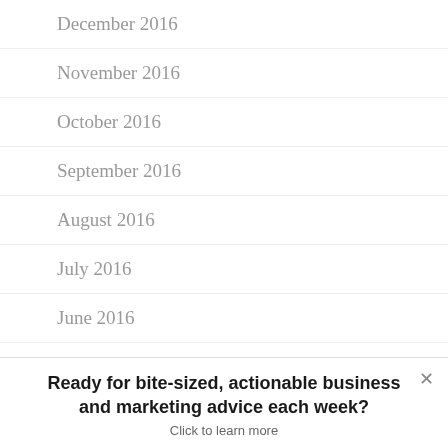December 2016
November 2016
October 2016
September 2016
August 2016
July 2016
June 2016
May 2016
April 2016
Ready for bite-sized, actionable business and marketing advice each week?
Click to learn more